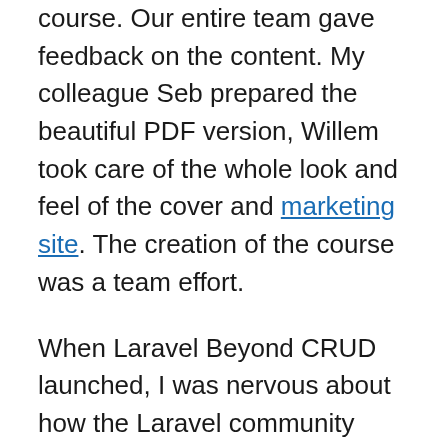course. Our entire team gave feedback on the content. My colleague Seb prepared the beautiful PDF version, Willem took care of the whole look and feel of the cover and marketing site. The creation of the course was a team effort.
When Laravel Beyond CRUD launched, I was nervous about how the Laravel community would react to this course. In this book, we preach to consider a more strict approach. In the Laravel community, there’s a tendency to solve things pragmatically. I don’t think that’s bad, because I consider myself a pragmatist too.
Luckily our ideas were embraced well. Reactions, after we launched it, were great. Laravel Beyond